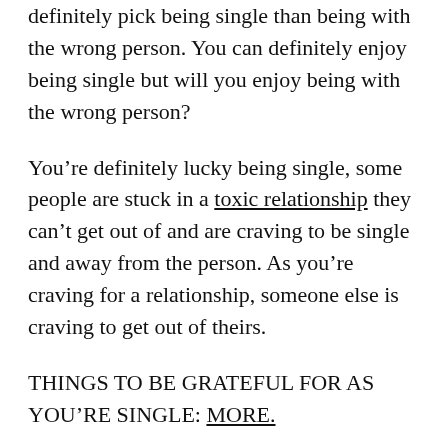definitely pick being single than being with the wrong person. You can definitely enjoy being single but will you enjoy being with the wrong person?
You're definitely lucky being single, some people are stuck in a toxic relationship they can't get out of and are craving to be single and away from the person. As you're craving for a relationship, someone else is craving to get out of theirs.
THINGS TO BE GRATEFUL FOR AS YOU'RE SINGLE: MORE.